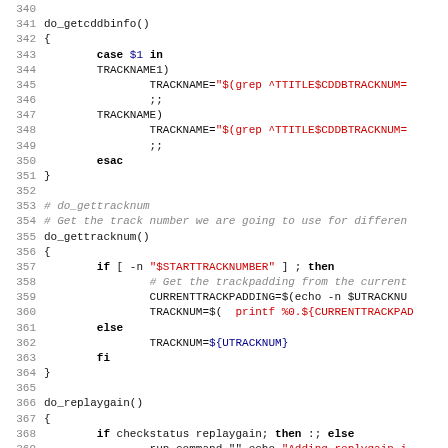[Figure (screenshot): Shell script source code with syntax highlighting, lines 340-371, showing functions do_getcddbinfo(), do_gettracknum(), and do_replaygain()]